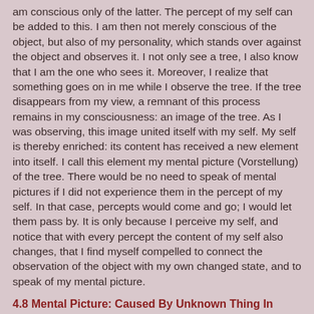am conscious only of the latter. The percept of my self can be added to this. I am then not merely conscious of the object, but also of my personality, which stands over against the object and observes it. I not only see a tree, I also know that I am the one who sees it. Moreover, I realize that something goes on in me while I observe the tree. If the tree disappears from my view, a remnant of this process remains in my consciousness: an image of the tree. As I was observing, this image united itself with my self. My self is thereby enriched: its content has received a new element into itself. I call this element my mental picture (Vorstellung) of the tree. There would be no need to speak of mental pictures if I did not experience them in the percept of my self. In that case, percepts would come and go; I would let them pass by. It is only because I perceive my self, and notice that with every percept the content of my self also changes, that I find myself compelled to connect the observation of the object with my own changed state, and to speak of my mental picture.
4.8 Mental Picture: Caused By Unknown Thing In